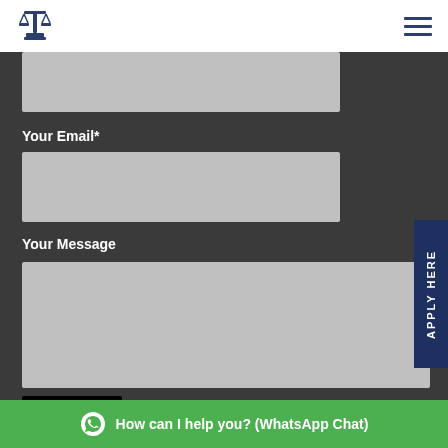[Figure (logo): Scales of justice logo icon with book base]
Your Email*
Your Message
Send
APPLY HERE
How can I help you? (WhatsApp Chat)